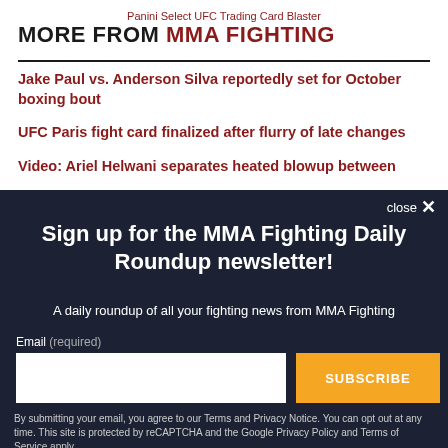Panini Select UFC Trading Card Blaster
MORE FROM MMA FIGHTING
Jake Paul vs. Anderson Silva reportedly set for October boxing bout
UFC Paris fight card finalized after flurry of late changes
Video: Ariel Helwani separates heated blowup between
close ×
Sign up for the MMA Fighting Daily Roundup newsletter!
A daily roundup of all your fighting news from MMA Fighting
Email (required)
SUBSCRIBE
By submitting your email, you agree to our Terms and Privacy Notice. You can opt out at any time. This site is protected by reCAPTCHA and the Google Privacy Policy and Terms of Service apply.